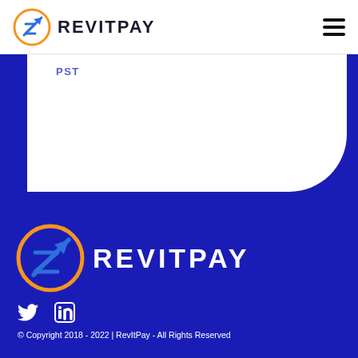[Figure (logo): RevitPay logo: orange circle with blue arrow/R icon, and REVITPAY wordmark in dark bold text]
PST
[Figure (logo): RevitPay footer logo: large orange circle with blue arrow/R icon on dark blue background, with large white REVITPAY wordmark]
[Figure (other): Social media icons: Twitter bird icon and LinkedIn 'in' icon in white on dark blue background]
© Copyright 2018 - 2022 | RevItPay - All Rights Reserved